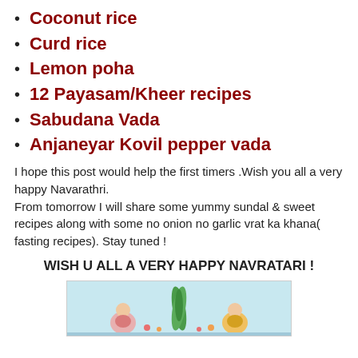Coconut rice
Curd rice
Lemon poha
12 Payasam/Kheer recipes
Sabudana Vada
Anjaneyar Kovil pepper vada
I hope this post would help the first timers .Wish you all a very happy Navarathri.
From tomorrow I will share some yummy sundal & sweet recipes along with some no onion no garlic vrat ka khana( fasting recipes). Stay tuned !
WISH U ALL A VERY HAPPY NAVRATARI !
[Figure (photo): Chitra's Food Book — decorative food/festive image with flowers and golu dolls on a light blue background]